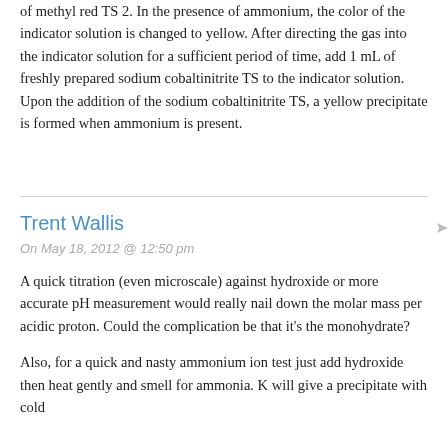of methyl red TS 2. In the presence of ammonium, the color of the indicator solution is changed to yellow. After directing the gas into the indicator solution for a sufficient period of time, add 1 mL of freshly prepared sodium cobaltinitrite TS to the indicator solution. Upon the addition of the sodium cobaltinitrite TS, a yellow precipitate is formed when ammonium is present.
Trent Wallis
On May 18, 2012 @ 12:50 pm
A quick titration (even microscale) against hydroxide or more accurate pH measurement would really nail down the molar mass per acidic proton. Could the complication be that it's the monohydrate?
Also, for a quick and nasty ammonium ion test just add hydroxide then heat gently and smell for ammonia. K will give a precipitate with cold